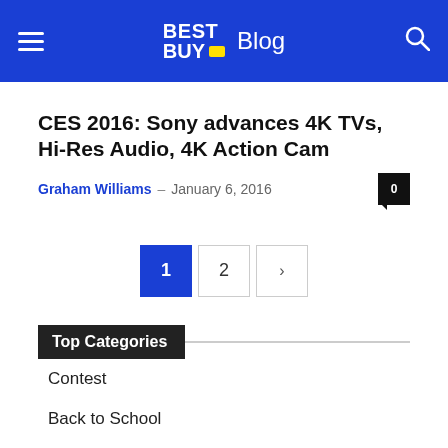BEST BUY Blog
CES 2016: Sony advances 4K TVs, Hi-Res Audio, 4K Action Cam
Graham Williams – January 6, 2016  0
1 2 >
Top Categories
Contest
Back to School
Smart home
TV & Home Theatre